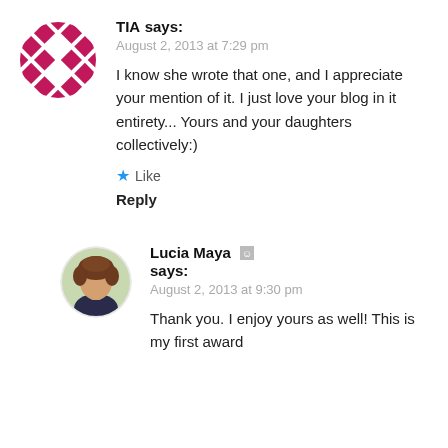[Figure (photo): Circular avatar with pink/magenta diamond pattern on white background for user TIA]
TIA says:
August 2, 2013 at 7:29 pm
I know she wrote that one, and I appreciate your mention of it. I just love your blog in it entirety... Yours and your daughters collectively:)
Like
Reply
[Figure (photo): Circular avatar showing a woman with brown curly hair, photo of Lucia Maya]
Lucia Maya says:
August 2, 2013 at 9:30 pm
Thank you. I enjoy yours as well! This is my first award